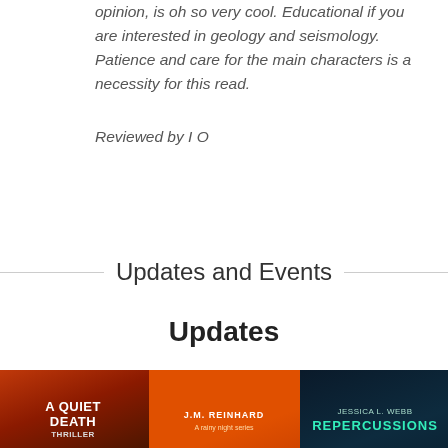opinion, is oh so very cool. Educational if you are interested in geology and seismology. Patience and care for the main characters is a necessity for this read.
Reviewed by I O
Updates and Events
Updates
[Figure (photo): Three book covers side by side: 'A Quiet Death' with red/dark desert scene, a middle book by J.M. Reinhard with orange/dark cover, and 'Repercussions' by Jessica L. Webb with dark teal cover]